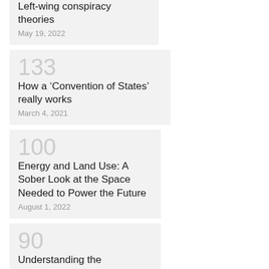Left-wing conspiracy theories
May 19, 2022
133
How a ‘Convention of States’ really works
March 4, 2021
100
Energy and Land Use: A Sober Look at the Space Needed to Power the Future
August 1, 2022
90
Understanding the Constitution: Why Biden is wrong to think the 9th Amendment protects abortion